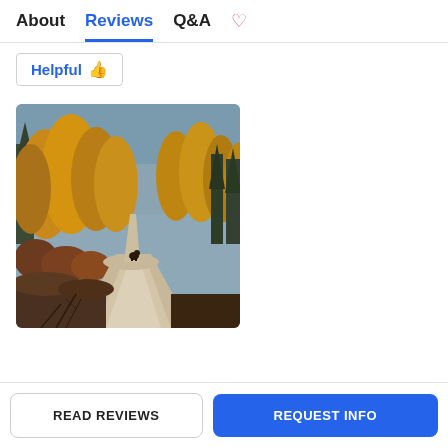About   Reviews   Q&A   ♡
Helpful 👍
[Figure (photo): A gravel trail winding through autumn forest with golden/orange trees and dark evergreen conifers under a hazy blue-grey sky. A small dark animal (bear) is visible on the trail in the middle distance.]
READ REVIEWS
REQUEST INFO